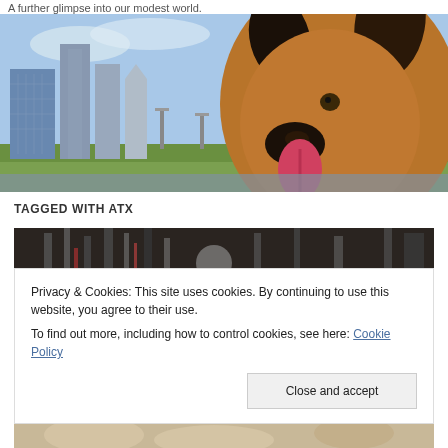A further glimpse into our modest world.
[Figure (photo): A dog with tongue out in front of a city skyline (Austin, TX) on a sunny day.]
TAGGED WITH ATX
[Figure (photo): Dark overhead shot of tools or kitchen utensils on a surface.]
Privacy & Cookies: This site uses cookies. By continuing to use this website, you agree to their use.
To find out more, including how to control cookies, see here: Cookie Policy

Close and accept
[Figure (photo): Partial view of a lighter-toned photo at the bottom of the page.]